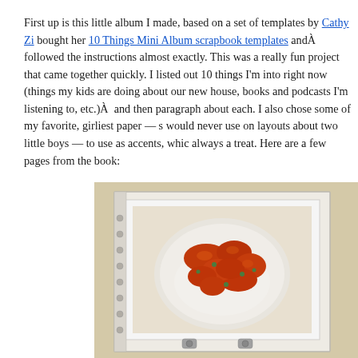First up is this little album I made, based on a set of templates by Cathy Zi bought her 10 Things Mini Album scrapbook templates and followed the instructions almost exactly. This was a really fun project that came together quickly. I listed out 10 things I'm into right now (things my kids are doing about our new house, books and podcasts I'm listening to, etc.)  and then paragraph about each. I also chose some of my favorite, girliest paper — s would never use on layouts about two little boys — to use as accents, whic always a treat. Here are a few pages from the book:
[Figure (photo): A mini album open to a page showing a photo of a bowl of red-sauced chicken (orange chicken or similar Asian dish) served over white rice, displayed in a white photo frame/mount inside the album. The album has a white border and metal corner clasps visible at the bottom. The background is a tan/beige color.]